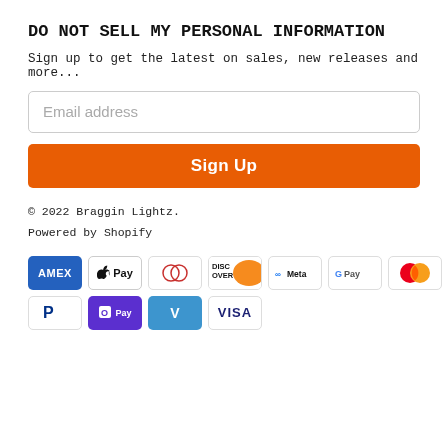DO NOT SELL MY PERSONAL INFORMATION
Sign up to get the latest on sales, new releases and more...
Email address
Sign Up
© 2022 Braggin Lightz.
Powered by Shopify
[Figure (infographic): Payment icons: AMEX, Apple Pay, Diners Club, Discover, Meta, Google Pay, Mastercard (row 1); PayPal, Shop Pay, Venmo, VISA (row 2)]